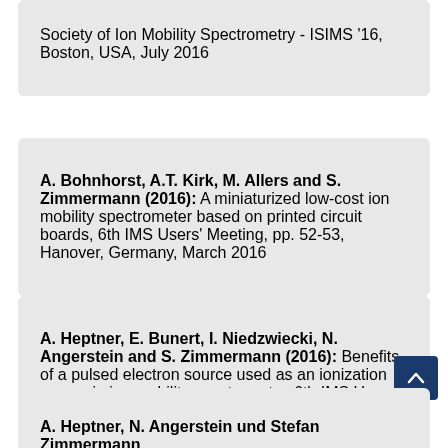Society of Ion Mobility Spectrometry - ISIMS '16, Boston, USA, July 2016
A. Bohnhorst, A.T. Kirk, M. Allers and S. Zimmermann (2016): A miniaturized low-cost ion mobility spectrometer based on printed circuit boards, 6th IMS Users' Meeting, pp. 52-53, Hanover, Germany, March 2016
A. Heptner, E. Bunert, I. Niedzwiecki, N. Angerstein and S. Zimmermann (2016): Benefits of a pulsed electron source used as an ionization source in ion mobility spectrometry, 6th IMS Users' Meeting, pp. 56, Hanover, Germany, March 2016
A. Heptner, N. Angerstein und Stefan Zimmermann